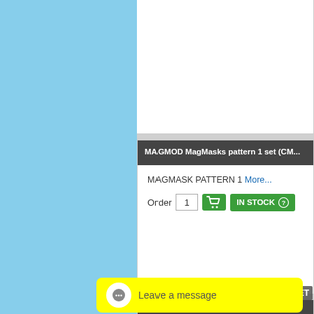[Figure (screenshot): E-commerce product listing page screenshot showing a light blue sidebar on the left and two product cards on the right. First card: MAGMOD MagMasks pattern 1 set with MAGMASK PATTERN 1 More... link, Order quantity field with value 1, green cart button, and green IN STOCK button with question mark. Second card (partially visible): MAGMOD MagMasks standard set. Yellow chat widget at bottom with speech bubble icon and 'Leave a message' text.]
MAGMOD MagMasks pattern 1 set (CM...
MAGMASK PATTERN 1 More...
Order 1 IN STOCK
MAGMOD MagMasks standard set (CM...
Leave a message